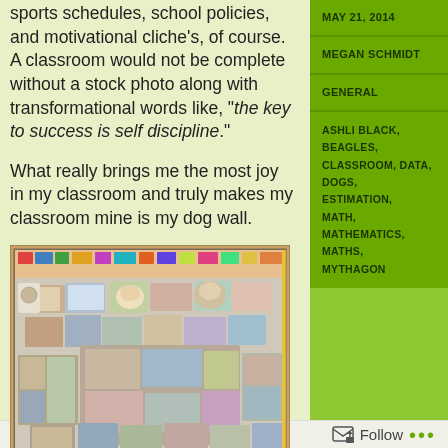sports schedules, school policies, and motivational cliche's, of course.  A classroom would not be complete without a stock photo along with transformational words like, "the key to success is self discipline."
What really brings me the most joy in my classroom and truly makes my classroom mine is my dog wall.
[Figure (photo): A bulletin board covered with many photos of dogs and other images, densely packed across the board.]
[Figure (photo): Partial view of another bulletin board row with dog-related images.]
MAY 21, 2014
MEGAN SCHMIDT
GENERAL
ASHLI BLACK, BEAGLES, CLASSROOM, DATA, DOGS, ESTIMATION, MATH, MATHEMATICS, MATHS, MYTHAGON
Follow